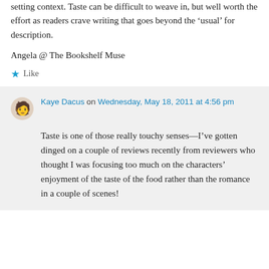setting context. Taste can be difficult to weave in, but well worth the effort as readers crave writing that goes beyond the 'usual' for description.
Angela @ The Bookshelf Muse
★ Like
Kaye Dacus on Wednesday, May 18, 2011 at 4:56 pm
Taste is one of those really touchy senses—I've gotten dinged on a couple of reviews recently from reviewers who thought I was focusing too much on the characters' enjoyment of the taste of the food rather than the romance in a couple of scenes!